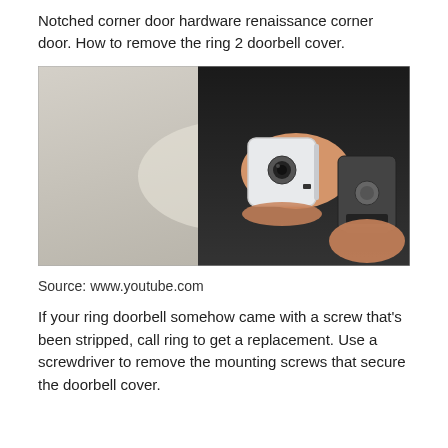Notched corner door hardware renaissance corner door. How to remove the ring 2 doorbell cover.
[Figure (photo): A person holding two Ring doorbell components — a white front cover with a camera lens in one hand and the black mounting base/back plate in the other hand, against a light wall background.]
Source: www.youtube.com
If your ring doorbell somehow came with a screw that's been stripped, call ring to get a replacement. Use a screwdriver to remove the mounting screws that secure the doorbell cover.